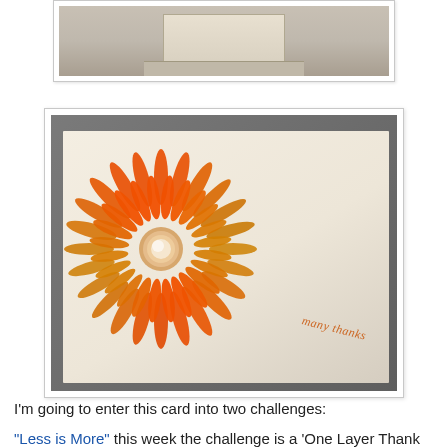[Figure (photo): Partial view of a beige/kraft card or box photographed from above, cropped at top of page]
[Figure (photo): A handmade greeting card with an orange gerbera daisy stamp and 'many thanks' text in italic script, photographed at an angle on a grey surface]
I'm going to enter this card into two challenges:
"Less is More" this week the challenge is a 'One Layer Thank You' card.
STAMPlorations - the monthly challenge - Stamps and Flowers